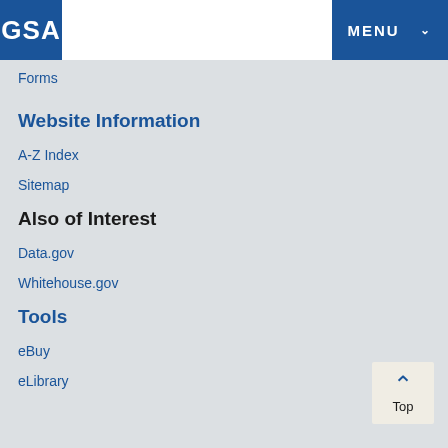[Figure (logo): GSA logo - blue square with white GSA text]
[Figure (other): MENU button with dropdown arrow in blue]
Forms
Website Information
A-Z Index
Sitemap
Also of Interest
Data.gov
Whitehouse.gov
Tools
eBuy
eLibrary